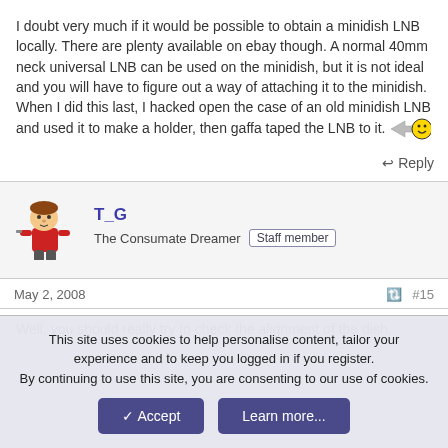I doubt very much if it would be possible to obtain a minidish LNB locally. There are plenty available on ebay though. A normal 40mm neck universal LNB can be used on the minidish, but it is not ideal and you will have to figure out a way of attaching it to the minidish. When I did this last, I hacked open the case of an old minidish LNB and used it to make a holder, then gaffa taped the LNB to it. 🙂
↩ Reply
T_G
The Consumate Dreamer  Staff member
May 2, 2008   #15
Well, you should really try to check the alignment of the dish.
This site uses cookies to help personalise content, tailor your experience and to keep you logged in if you register.
By continuing to use this site, you are consenting to our use of cookies.
✓ Accept
Learn more...